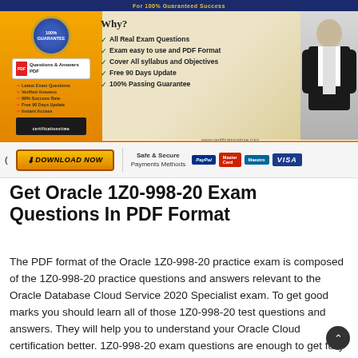[Figure (infographic): Certification exam prep advertisement banner with logo, checklist of features, and man in suit pointing]
[Figure (infographic): Download Now button bar with payment method icons: PayPal, MasterCard, Maestro, VISA]
Get Oracle 1Z0-998-20 Exam Questions In PDF Format
The PDF format of the Oracle 1Z0-998-20 practice exam is composed of the 1Z0-998-20 practice questions and answers relevant to the Oracle Database Cloud Service 2020 Specialist exam. To get good marks you should learn all of those 1Z0-998-20 test questions and answers. They will help you to understand your Oracle Cloud certification better. 1Z0-998-20 exam questions are enough to get fully prepared for